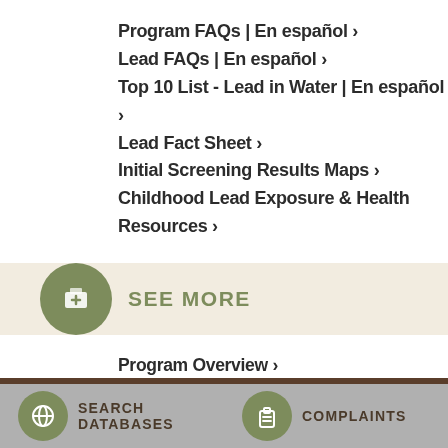Program FAQs | En español >
Lead FAQs | En español >
Top 10 List - Lead in Water | En español >
Lead Fact Sheet >
Initial Screening Results Maps >
Childhood Lead Exposure & Health Resources >
SEE MORE
Program Overview >
Program Background >
Initial Scope >
Fact Sheet | En espanol >
School Drinking Water Lead Screening Process | En español >
SEARCH DATABASES   COMPLAINTS